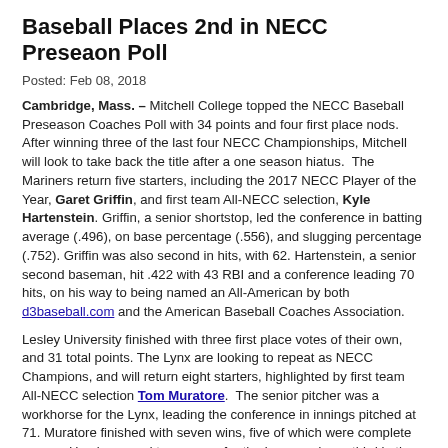Baseball Places 2nd in NECC Preseaon Poll
Posted: Feb 08, 2018
Cambridge, Mass. – Mitchell College topped the NECC Baseball Preseason Coaches Poll with 34 points and four first place nods. After winning three of the last four NECC Championships, Mitchell will look to take back the title after a one season hiatus. The Mariners return five starters, including the 2017 NECC Player of the Year, Garet Griffin, and first team All-NECC selection, Kyle Hartenstein. Griffin, a senior shortstop, led the conference in batting average (.496), on base percentage (.556), and slugging percentage (.752). Griffin was also second in hits, with 62. Hartenstein, a senior second baseman, hit .422 with 43 RBI and a conference leading 70 hits, on his way to being named an All-American by both d3baseball.com and the American Baseball Coaches Association.
Lesley University finished with three first place votes of their own, and 31 total points. The Lynx are looking to repeat as NECC Champions, and will return eight starters, highlighted by first team All-NECC selection Tom Muratore. The senior pitcher was a workhorse for the Lynx, leading the conference in innings pitched at 71. Muratore finished with seven wins, five of which were complete games. He also saved two games for the Lynx, and was third in the conference in strikeouts with 51.
Finishing in third with 24 total points was Elms College. The Blazers will have a strong pitching rotation, as they return two first team All-NECC pitchers, Jacob Graveline and Matt Plasse. Plasse was second in the conference in ERA, at 2.89, finishing with a 5-and-3 record. Graveline finished with an overall ERA of 4.21, and an identical record of 5-and-3.